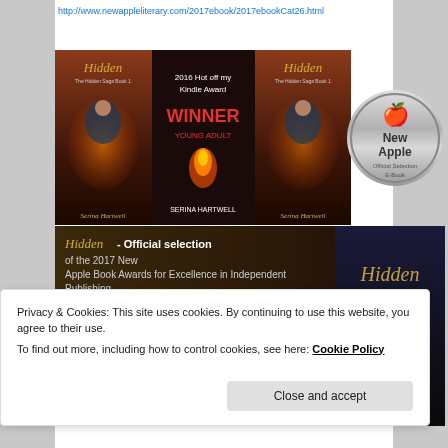http://www.newappleliterary.com/2017ebook/2017ebookCat26.html
[Figure (screenshot): Book award images for 'Hidden' by Serina Hartwell — showing 2016 Hot off my Kindle Award WINNER Young Adult, Hidden book cover, New Apple Official Selection E-Book medal, and 2017 New Apple Book Awards for Excellence in Independent Publishing selection banner with book cover and author photo]
Privacy & Cookies: This site uses cookies. By continuing to use this website, you agree to their use.
To find out more, including how to control cookies, see here: Cookie Policy
Close and accept